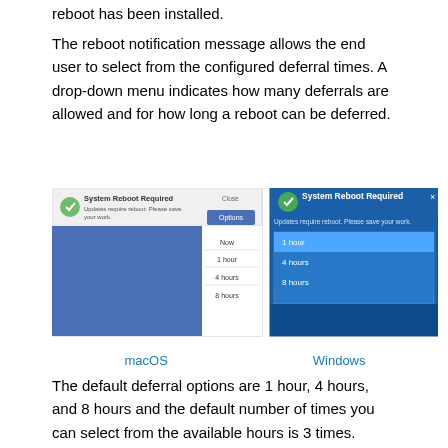reboot has been installed.
The reboot notification message allows the end user to select from the configured deferral times. A drop-down menu indicates how many deferrals are allowed and for how long a reboot can be deferred.
[Figure (screenshot): Two screenshots side-by-side showing System Reboot Required dialogs: macOS version (left) showing a dropdown with Now, 1 hour, 4 hours, 8 hours options; Windows version (right) showing the same dialog with 1 hour, 4 hours, 8 hours listed.]
macOS          Windows
The default deferral options are 1 hour, 4 hours, and 8 hours and the default number of times you can select from the available hours is 3 times.
For the example shown, when the message appears the first time, you could select to defer 4 hours before the reboot notification appears for the second time. Then you can